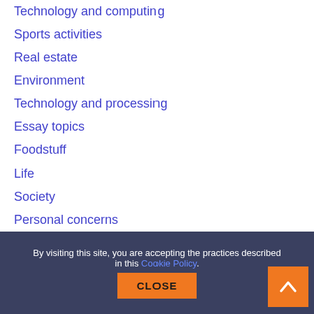Technology and computing
Sports activities
Real estate
Environment
Technology and processing
Essay topics
Foodstuff
Life
Society
Personal concerns
Law
Personal issues
Literary works
Legislation
English language
Organization and professional
Integrity
History
By visiting this site, you are accepting the practices described in this Cookie Policy.
CLOSE